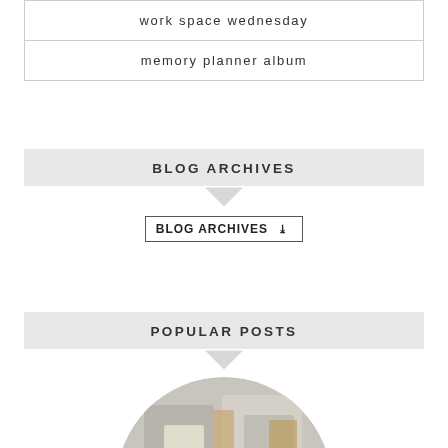work space wednesday
memory planner album
BLOG ARCHIVES
[Figure (screenshot): Dropdown selector widget with text BLOG ARCHIVES and a down chevron arrow]
POPULAR POSTS
[Figure (photo): Circular cropped photo showing craft supplies or stationery items in muted tones, partially visible at bottom of page]